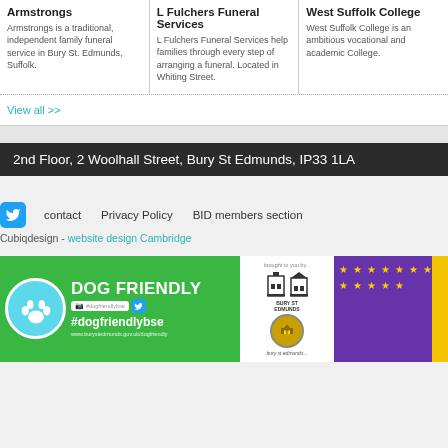Armstrongs
Armstrongs is a traditional, independent family funeral service in Bury St. Edmunds, Suffolk.
L Fulchers Funeral Services
L Fulchers Funeral Services help families through every step of arranging a funeral. Located in Whiting Street.
West Suffolk College
West Suffolk College is an ambitious vocational and academic College.
View all >>
2nd Floor, 2 Woolhall Street, Bury St Edmunds, IP33 1LA
contact   Privacy Policy   BID members section
Cubiqdesign - website design Cambridge
[Figure (infographic): Dog Friendly BSE banner with paw icon, #dogfriendlybse hashtag, social media icons, Bury St Edmunds council logos, and purple EU-style stars banner]